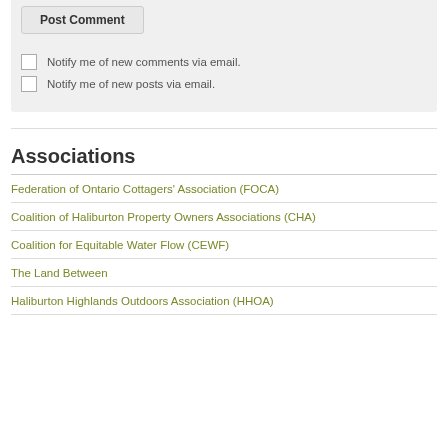Post Comment
Notify me of new comments via email.
Notify me of new posts via email.
Associations
Federation of Ontario Cottagers' Association (FOCA)
Coalition of Haliburton Property Owners Associations (CHA)
Coalition for Equitable Water Flow (CEWF)
The Land Between
Haliburton Highlands Outdoors Association (HHOA)